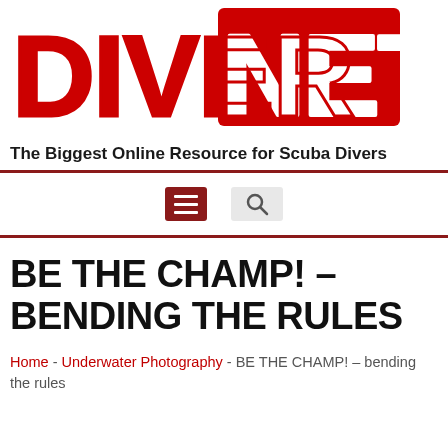[Figure (logo): DIVERNET logo in bold red 3D lettering with white outline, large text reading DIVER NET]
The Biggest Online Resource for Scuba Divers
[Figure (infographic): Navigation bar with hamburger menu icon (red) and search icon (grey)]
BE THE CHAMP! – BENDING THE RULES
Home - Underwater Photography - BE THE CHAMP! – bending the rules